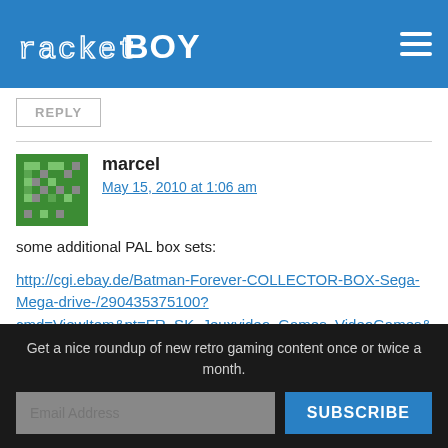rocketBOY
REPLY
marcel
May 15, 2010 at 1:06 am
some additional PAL box sets:
http://cgi.ebay.de/Batman-Forever-COLLECTOR-BOX-Sega-Megadrive-/290435375100?cmd=ViewItem&pt=FR_SK_Jeuxvideo_Games_VideoGames&hash=ite
http://cgi.ebay.de/Were-the-world-carmen-COLLECTOR-BOX-
Get a nice roundup of new retro gaming content once or twice a month.
Email Address
SUBSCRIBE